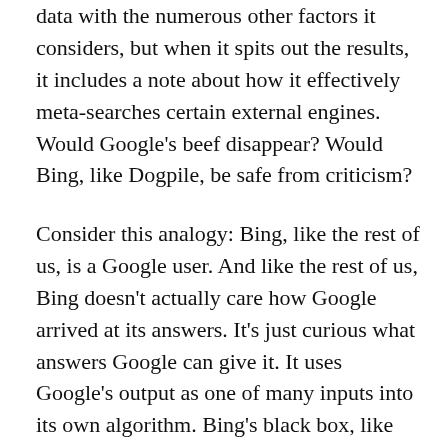data with the numerous other factors it considers, but when it spits out the results, it includes a note about how it effectively meta-searches certain external engines. Would Google's beef disappear? Would Bing, like Dogpile, be safe from criticism?
Consider this analogy: Bing, like the rest of us, is a Google user. And like the rest of us, Bing doesn't actually care how Google arrived at its answers. It's just curious what answers Google can give it. It uses Google's output as one of many inputs into its own algorithm. Bing's black box, like Google's, uses some public tools (unprotected sites, databases and link depositories) and some private tools (the sum total of its many algorithms) to create search results for its user. The difference is that Bing uses one public tool in